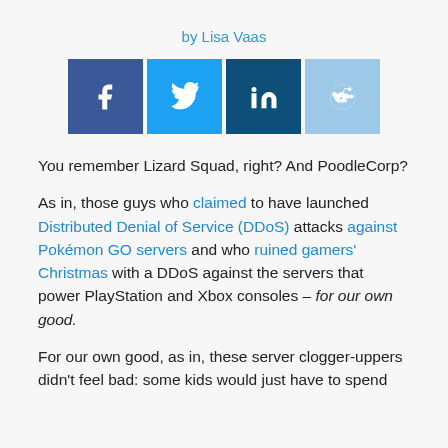by Lisa Vaas
[Figure (infographic): Social share buttons: Facebook (dark blue), Twitter (blue), LinkedIn (dark navy), Reddit (light blue)]
You remember Lizard Squad, right? And PoodleCorp?
As in, those guys who claimed to have launched Distributed Denial of Service (DDoS) attacks against Pokémon GO servers and who ruined gamers' Christmas with a DDoS against the servers that power PlayStation and Xbox consoles – for our own good.
For our own good, as in, these server clogger-uppers didn't feel bad: some kids would just have to spend